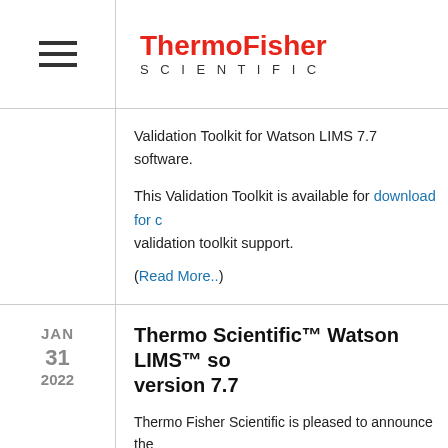ThermoFisher SCIENTIFIC
Validation Toolkit for Watson LIMS 7.7 software.
This Validation Toolkit is available for download for c… validation toolkit support. (Read More..)
Thermo Scientific™ Watson LIMS™ so… version 7.7
Thermo Fisher Scientific is pleased to announce the… of Thermo Scientific™ Watson LIMS™ software v…
New and enhanced features in Watson LIMS softwa… include Internal Standard Review, Import Study Prot… improvements, %CV of concentration flagging additi… run processing enhancements, CDISC SDTM suppo…